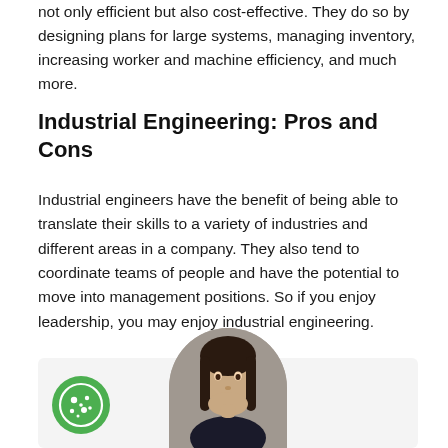not only efficient but also cost-effective. They do so by designing plans for large systems, managing inventory, increasing worker and machine efficiency, and much more.
Industrial Engineering: Pros and Cons
Industrial engineers have the benefit of being able to translate their skills to a variety of industries and different areas in a company. They also tend to coordinate teams of people and have the potential to move into management positions. So if you enjoy leadership, you may enjoy industrial engineering.
[Figure (photo): A circular portrait photo of a young woman with long dark hair, smiling, placed inside a light gray box at the bottom of the page. A green cookie consent icon is visible in the lower left corner.]